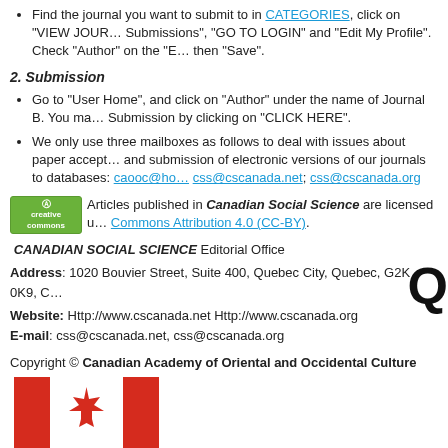Find the journal you want to submit to in CATEGORIES, click on "VIEW JOUR..." Submissions", "GO TO LOGIN" and "Edit My Profile". Check "Author" on the "E..." then "Save".
2. Submission
Go to "User Home", and click on "Author" under the name of Journal B. You ma... Submission by clicking on "CLICK HERE".
We only use three mailboxes as follows to deal with issues about paper accept... and submission of electronic versions of our journals to databases: caooc@ho... css@cscanada.net; css@cscanada.org
Articles published in Canadian Social Science are licensed under Creative Commons Attribution 4.0 (CC-BY).
CANADIAN SOCIAL SCIENCE Editorial Office
Address: 1020 Bouvier Street, Suite 400, Quebec City, Quebec, G2K 0K9, C...
Website: Http://www.cscanada.net Http://www.cscanada.org
E-mail: css@cscanada.net, css@cscanada.org
Copyright © Canadian Academy of Oriental and Occidental Culture
[Figure (illustration): Canadian flag SVG illustration — red and white flag with maple leaf]